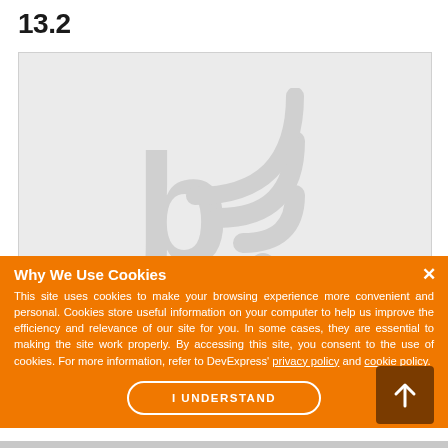13.2
[Figure (screenshot): Screenshot of a webpage showing a light gray background with a faded RSS/blog feed icon (letter b with WiFi-style arcs) in the center.]
Why We Use Cookies
This site uses cookies to make your browsing experience more convenient and personal. Cookies store useful information on your computer to help us improve the efficiency and relevance of our site for you. In some cases, they are essential to making the site work properly. By accessing this site, you consent to the use of cookies. For more information, refer to DevExpress' privacy policy and cookie policy.
I UNDERSTAND